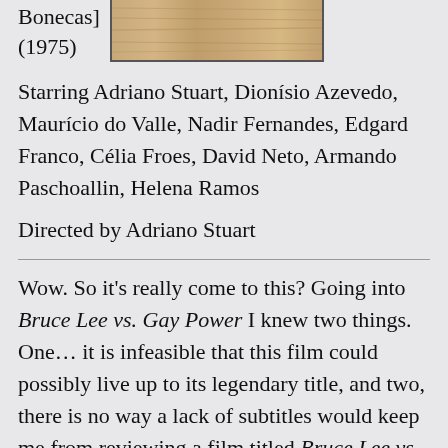[Figure (photo): A wooden textured surface or film still, shown in a bordered image at the top right of the page.]
Bonecas] (1975)
Starring Adriano Stuart, Dionísio Azevedo, Maurício do Valle, Nadir Fernandes, Edgard Franco, Célia Froes, David Neto, Armando Paschoallin, Helena Ramos
Directed by Adriano Stuart
Wow. So it's really come to this? Going into Bruce Lee vs. Gay Power I knew two things. One… it is infeasible that this film could possibly live up to its legendary title, and two, there is no way a lack of subtitles would keep me from reviewing a film titled Bruce Lee vs